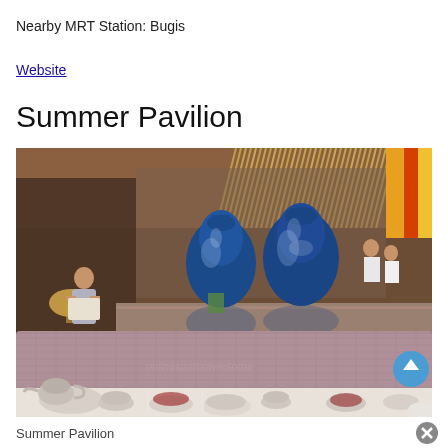Nearby MRT Station: Bugis
Website
Summer Pavilion
[Figure (photo): Interior of Summer Pavilion restaurant showing two large blue decorative vases on a mirrored surface, upholstered booth seating, dining tables set with Chinese teaware, and a staff member in the background. A watermark reads 'onlinespaforawesome'. A blue circular scroll-up button is visible at the bottom right.]
Summer Pavilion